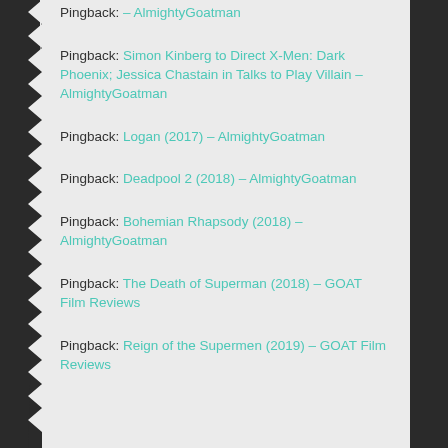Pingback: – AlmightyGoatman
Pingback: Simon Kinberg to Direct X-Men: Dark Phoenix; Jessica Chastain in Talks to Play Villain – AlmightyGoatman
Pingback: Logan (2017) – AlmightyGoatman
Pingback: Deadpool 2 (2018) – AlmightyGoatman
Pingback: Bohemian Rhapsody (2018) – AlmightyGoatman
Pingback: The Death of Superman (2018) – GOAT Film Reviews
Pingback: Reign of the Supermen (2019) – GOAT Film Reviews